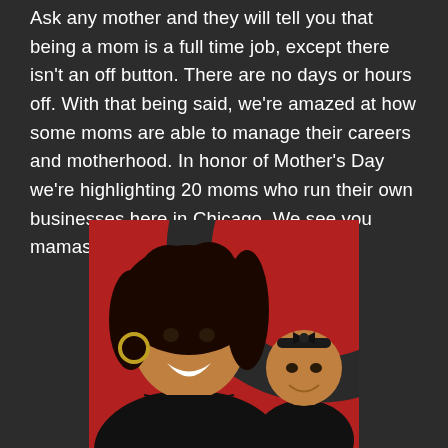Ask any mother and they will tell you that being a mom is a full time job, except there isn't an off button. There are no days or hours off. With that being said, we're amazed at how some moms are able to manage their careers and motherhood. In honor of Mother's Day we're highlighting 20 moms who run their own businesses here in Chicago. We see you mamas! Keep up the great work!
[Figure (photo): A smiling Black woman with curly hair wearing a black t-shirt and hoop earrings, posed in front of a red background with a dark circular arc. A smiling baby girl wearing a black bow headband is beside her.]